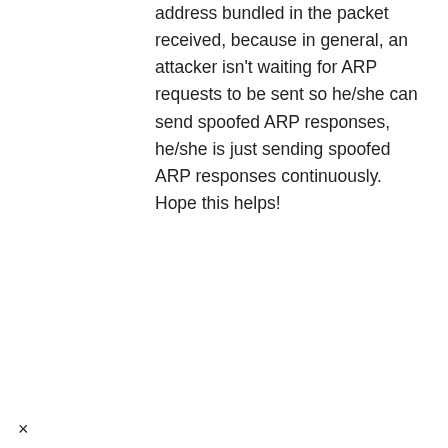address bundled in the packet received, because in general, an attacker isn't waiting for ARP requests to be sent so he/she can send spoofed ARP responses, he/she is just sending spoofed ARP responses continuously. Hope this helps!
×